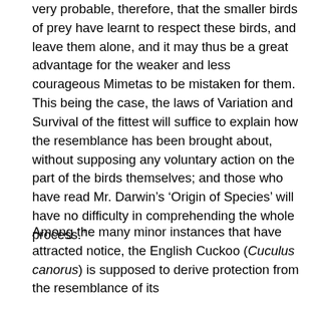very probable, therefore, that the smaller birds of prey have learnt to respect these birds, and leave them alone, and it may thus be a great advantage for the weaker and less courageous Mimetas to be mistaken for them. This being the case, the laws of Variation and Survival of the fittest will suffice to explain how the resemblance has been brought about, without supposing any voluntary action on the part of the birds themselves; and those who have read Mr. Darwin's ‘Origin of Species’ will have no difficulty in comprehending the whole process.”
Among the many minor instances that have attracted notice, the English Cuckoo (Cuculus canorus) is supposed to derive protection from the resemblance of its